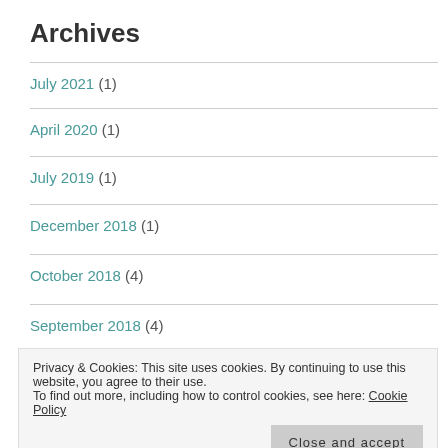Archives
July 2021 (1)
April 2020 (1)
July 2019 (1)
December 2018 (1)
October 2018 (4)
September 2018 (4)
Privacy & Cookies: This site uses cookies. By continuing to use this website, you agree to their use. To find out more, including how to control cookies, see here: Cookie Policy  Close and accept
April 2018 (3)